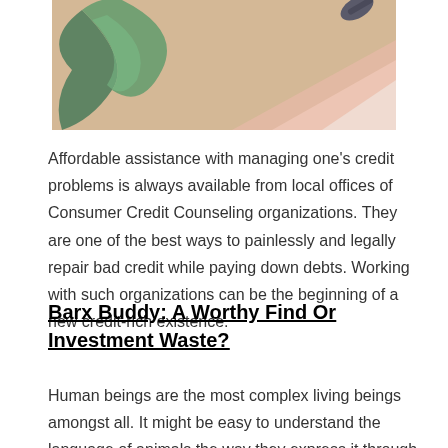[Figure (illustration): Partial illustration showing abstract shapes with green, beige, and pink/salmon tones — appears to be a stylized image related to credit or finance, cropped at the top]
Affordable assistance with managing one's credit problems is always available from local offices of Consumer Credit Counseling organizations. They are one of the best ways to painlessly and legally repair bad credit while paying down debts. Working with such organizations can be the beginning of a new credit-rich existence.
Barx Buddy: A Worthy Find Or Investment Waste?
Human beings are the most complex living beings amongst all. It might be easy to understand the language of animals the way they express it through